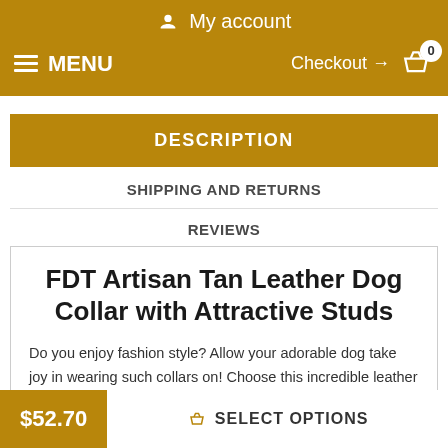My account
MENU | Checkout → 0
DESCRIPTION
SHIPPING AND RETURNS
REVIEWS
FDT Artisan Tan Leather Dog Collar with Attractive Studs
Do you enjoy fashion style? Allow your adorable dog take joy in wearing such collars on! Choose this incredible leather dog collar with embellishments from FDT Artisan. This gear is designed for those who just adore elegance and style. In this amazing collar,
$52.70  SELECT OPTIONS